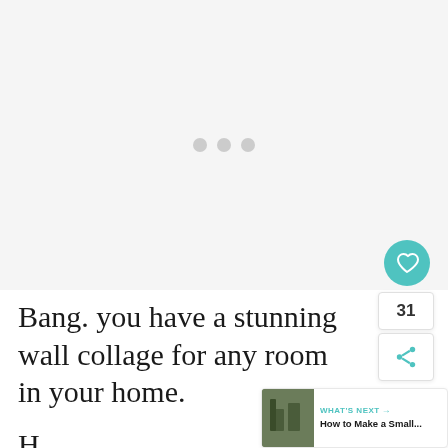[Figure (other): Large image placeholder area with three gray loading dots centered, indicating an image loading state. Light gray background.]
Bang. you have a stunning wall collage for any room in your home.
WHAT'S NEXT → How to Make a Small...